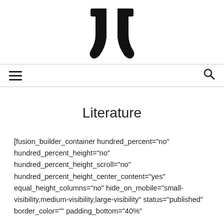[Figure (logo): Stylized logo mark resembling a character or symbol in black]
Navigation bar with hamburger menu icon and search icon
Literature
[fusion_builder_container hundred_percent="no" hundred_percent_height="no" hundred_percent_height_scroll="no" hundred_percent_height_center_content="yes" equal_height_columns="no" hide_on_mobile="small-visibility,medium-visibility,large-visibility" status="published" border_color="" padding_bottom="40%"